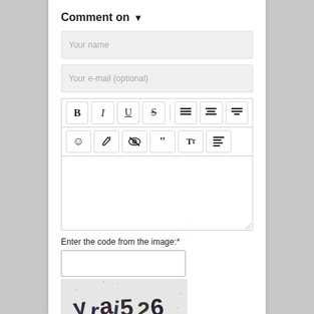Comment on ▾
Your name
Your e-mail (optional)
[Figure (screenshot): Rich text editor toolbar with formatting buttons: B, I, U, S (strikethrough), left-align, center-align, right-align on first row; smiley, pencil, eye-strikethrough, quote, font-size, indent on second row; followed by empty text area with resize handle]
Enter the code from the image:*
[Figure (photo): CAPTCHA image showing stylized graffiti-like text reading 'yrai526' or similar characters in dark ink on light grey background]